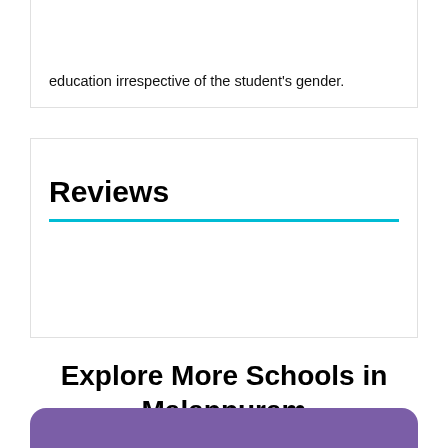education irrespective of the student's gender.
Reviews
Explore More Schools in Malappuram